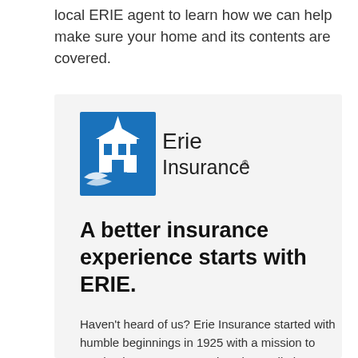local ERIE agent to learn how we can help make sure your home and its contents are covered.
[Figure (logo): Erie Insurance logo — blue square with white church/building illustration on left, 'Erie Insurance' text in dark gray on right with registered trademark symbol]
A better insurance experience starts with ERIE.
Haven't heard of us? Erie Insurance started with humble beginnings in 1925 with a mission to emphasize customer service above all else.